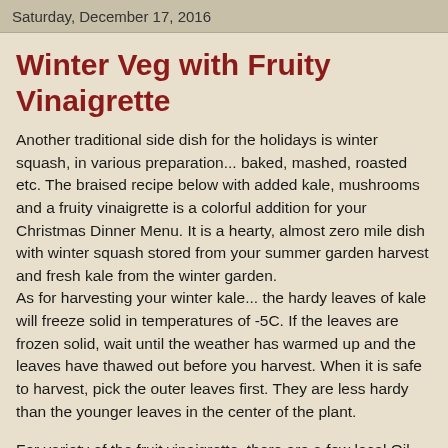Saturday, December 17, 2016
Winter Veg with Fruity Vinaigrette
Another traditional side dish for the holidays is winter squash, in various preparation... baked, mashed, roasted etc. The braised recipe below with added kale, mushrooms and a fruity vinaigrette is a colorful addition for your Christmas Dinner Menu. It is a hearty, almost zero mile dish with winter squash stored from your summer garden harvest and fresh kale from the winter garden.
As for harvesting your winter kale... the hardy leaves of kale will freeze solid in temperatures of -5C. If the leaves are frozen solid, wait until the weather has warmed up and the leaves have thawed out before you harvest. When it is safe to harvest, pick the outer leaves first. They are less hardy than the younger leaves in the center of the plant.
For variety of the fruit vinaigrette, there are a few local Oil and Vinegar Tasting rooms in the Comox Valley. If you have not tried this new specialty, go with a few girlfriends and guaranteed you will leave with some new favorite flavors and